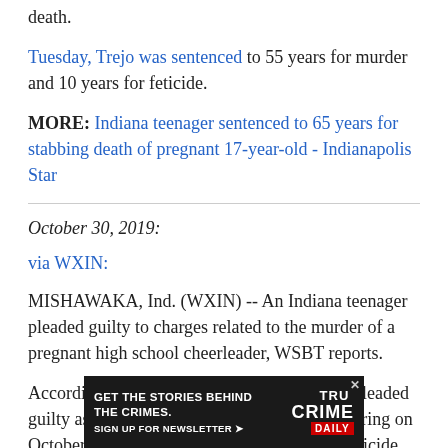death.
Tuesday, Trejo was sentenced to 55 years for murder and 10 years for feticide.
MORE: Indiana teenager sentenced to 65 years for stabbing death of pregnant 17-year-old - Indianapolis Star
October 30, 2019:
via WXIN:
MISHAWAKA, Ind. (WXIN) -- An Indiana teenager pleaded guilty to charges related to the murder of a pregnant high school cheerleader, WSBT reports.
According to court records, Aaron Trejo, 17, pleaded guilty as part of a plea agreement during a hearing on October 30. He is charged with murder and feticide.
His sente 20.
[Figure (infographic): Advertisement banner: GET THE STORIES BEHIND THE CRIMES. SIGN UP FOR NEWSLETTER. True Crime Daily.]